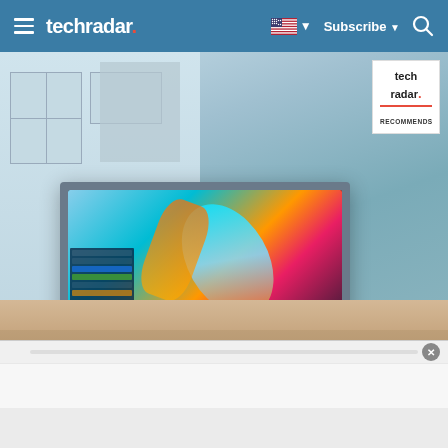techradar. | Subscribe | [Search]
[Figure (photo): Dell XPS 17 laptop open on a windowsill with the start menu visible on screen and a colorful abstract wallpaper. A TechRadar Recommends badge appears in the top-right corner of the image.]
Dell XPS 17 with start menu open
(Image: © Future)